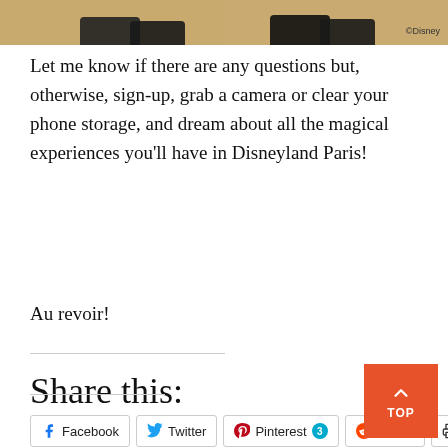[Figure (photo): Bottom portion of a photo showing two pairs of shoes/feet standing on sandy/dusty ground, with a ©Disney watermark in the top right corner.]
Let me know if there are any questions but, otherwise, sign-up, grab a camera or clear your phone storage, and dream about all the magical experiences you'll have in Disneyland Paris!
Au revoir!
Share this:
Facebook  Twitter  Pinterest 3  Reddit  Print